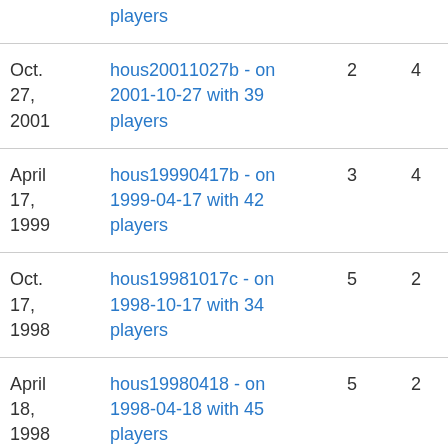| Date | Tournament | Col3 | Col4 |
| --- | --- | --- | --- |
|  | players |  |  |
| Oct. 27, 2001 | hous20011027b - on 2001-10-27 with 39 players | 2 | 4 |
| April 17, 1999 | hous19990417b - on 1999-04-17 with 42 players | 3 | 4 |
| Oct. 17, 1998 | hous19981017c - on 1998-10-17 with 34 players | 5 | 2 |
| April 18, 1998 | hous19980418 - on 1998-04-18 with 45 players | 5 | 2 |
| Oct. ... | hous19971011b - on ... | 4 | 3 |